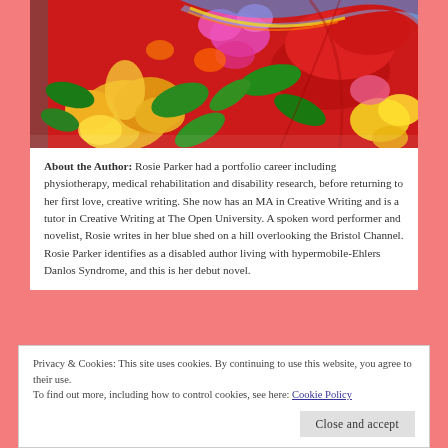[Figure (photo): Close-up photo of a red floral fabric with colorful flowers (yellow, orange, pink, green) tied in a knot or gathering]
About the Author: Rosie Parker had a portfolio career including physiotherapy, medical rehabilitation and disability research, before returning to her first love, creative writing. She now has an MA in Creative Writing and is a tutor in Creative Writing at The Open University. A spoken word performer and novelist, Rosie writes in her blue shed on a hill overlooking the Bristol Channel. Rosie Parker identifies as a disabled author living with hypermobile-Ehlers Danlos Syndrome, and this is her debut novel.
Privacy & Cookies: This site uses cookies. By continuing to use this website, you agree to their use.
To find out more, including how to control cookies, see here: Cookie Policy

Close and accept